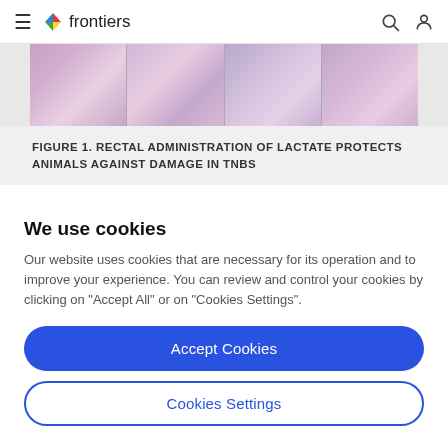frontiers
[Figure (photo): Microscopy histology images showing rectal tissue sections, stained purple/pink (H&E), displayed in a horizontal strip.]
FIGURE 1. RECTAL ADMINISTRATION OF LACTATE PROTECTS ANIMALS AGAINST DAMAGE IN TNBS
We use cookies
Our website uses cookies that are necessary for its operation and to improve your experience. You can review and control your cookies by clicking on "Accept All" or on "Cookies Settings".
Accept Cookies
Cookies Settings